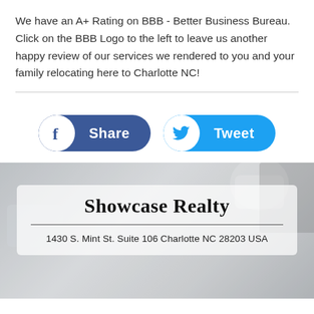We have an A+ Rating on BBB - Better Business Bureau. Click on the BBB Logo to the left to leave us another happy review of our services we rendered to you and your family relocating here to Charlotte NC!
[Figure (infographic): Facebook Share button (blue rounded rectangle with white circle containing Facebook 'f' icon and text 'Share') and Twitter Tweet button (light blue rounded rectangle with white circle containing Twitter bird icon and text 'Tweet')]
[Figure (photo): Background photo of a desk surface with office supplies (coffee cup, paper clips) in gray tones, overlaid with a semi-transparent white card showing 'Showcase Realty' title and address]
Showcase Realty
1430 S. Mint St. Suite 106 Charlotte NC 28203 USA